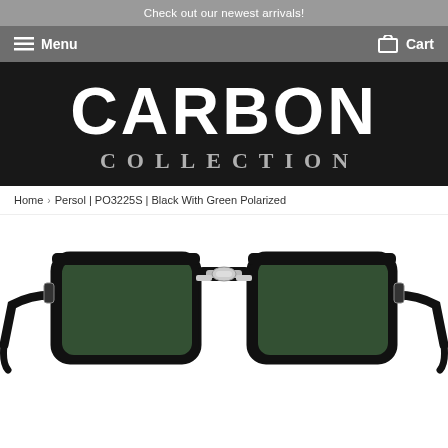Check out our newest arrivals!
Menu   Cart
[Figure (logo): Carbon Collection logo — large white CARBON text above smaller COLLECTION text on dark background]
Home › Persol | PO3225S | Black With Green Polarized
[Figure (photo): Persol PO3225S sunglasses — black frame with dark green polarized lenses, flat top bar, silver metal bridge detail, shown on white background]